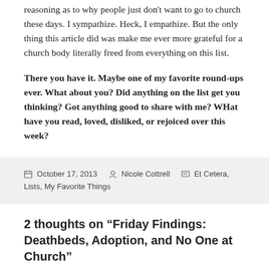reasoning as to why people just don't want to go to church these days. I sympathize. Heck, I empathize. But the only thing this article did was make me ever more grateful for a church body literally freed from everything on this list.
There you have it. Maybe one of my favorite round-ups ever. What about you? Did anything on the list get you thinking? Got anything good to share with me? WHat have you read, loved, disliked, or rejoiced over this week?
October 17, 2013   Nicole Cottrell   Et Cetera, Lists, My Favorite Things
2 thoughts on “Friday Findings: Deathbeds, Adoption, and No One at Church”